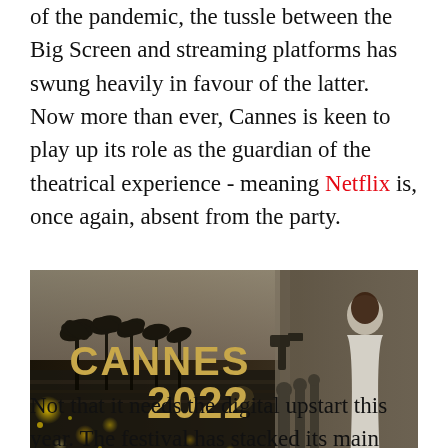of the pandemic, the tussle between the Big Screen and streaming platforms has swung heavily in favour of the latter. Now more than ever, Cannes is keen to play up its role as the guardian of the theatrical experience - meaning Netflix is, once again, absent from the party.
[Figure (photo): Cannes 2022 promotional banner image showing a glamorous scene with palm trees and a woman in a white dress, overlaid with bold gold text reading CANNES 2022]
Not that it needs the digital upstart this year. The festival has stacked its main competition with alpha auteurs, including